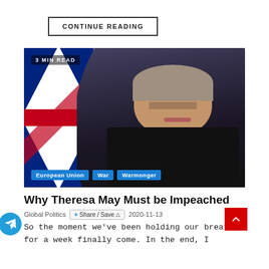CONTINUE READING
[Figure (photo): Photo of Theresa May in a dark jacket with UK flag in background and purple backdrop. Tags: European Union, War, Warmonger. Badge: 3 MIN READ.]
Why Theresa May Must be Impeached
Global Politics  2020-11-13
Share / Save
So the moment we've been holding our breaths for a week finally come. In the end, I